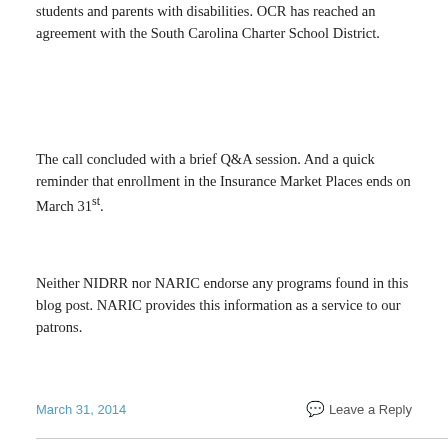students and parents with disabilities. OCR has reached an agreement with the South Carolina Charter School District.
The call concluded with a brief Q&A session. And a quick reminder that enrollment in the Insurance Market Places ends on March 31st.
Neither NIDRR nor NARIC endorse any programs found in this blog post. NARIC provides this information as a service to our patrons.
March 31, 2014    Leave a Reply
October is National Disability Employment Awareness Month